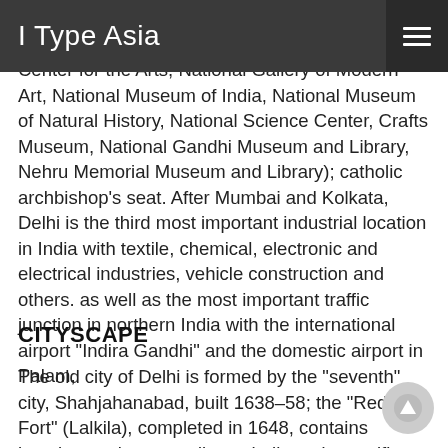I Type Asia
agricultural college, research institutes, libraries, museums (including Indira Gandhi National Center for the Arts, National Gallery of Modern Art, National Museum of India, National Museum of Natural History, National Science Center, Crafts Museum, National Gandhi Museum and Library, Nehru Memorial Museum and Library); catholic archbishop’s seat. After Mumbai and Kolkata, Delhi is the third most important industrial location in India with textile, chemical, electronic and electrical industries, vehicle construction and others. as well as the most important traffic junction in northern India with the international airport “Indira Gandhi” and the domestic airport in Palam,
CITYSCAPE
The old city of Delhi is formed by the “seventh” city, Shahjahanabad, built 1638–58; the “Red Fort” (Lalkila), completed in 1648, contains luxurious palaces, audience halls and magnificent gates as